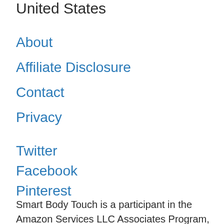United States
About
Affiliate Disclosure
Contact
Privacy
Twitter
Facebook
Pinterest
Smart Body Touch is a participant in the Amazon Services LLC Associates Program, an affiliate advertising program designed to